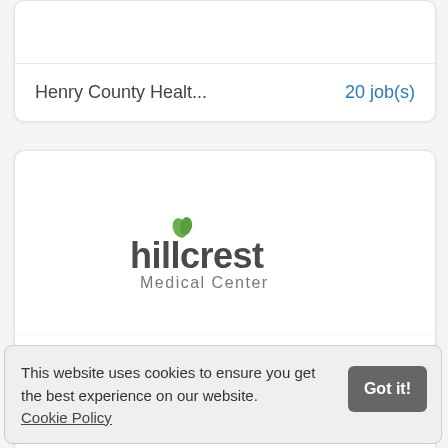Henry County Healt...    20 job(s)
[Figure (logo): Hillcrest Medical Center logo — 'hillcrest' in dark gray with a green leaf above the 'i', and 'Medical Center' in smaller gray text below]
Hillcrest Medical Ce...    220 job(s)
This website uses cookies to ensure you get the best experience on our website. Cookie Policy   [Got it!]
[Figure (logo): Holy Name Medical Center logo partially visible behind cookie banner]